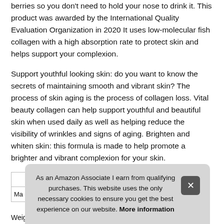berries so you don't need to hold your nose to drink it. This product was awarded by the International Quality Evaluation Organization in 2020 It uses low-molecular fish collagen with a high absorption rate to protect skin and helps support your complexion.
Support youthful looking skin: do you want to know the secrets of maintaining smooth and vibrant skin? The process of skin aging is the process of collagen loss. Vital beauty collagen can help support youthful and beautiful skin when used daily as well as helping reduce the visibility of wrinkles and signs of aging. Brighten and whiten skin: this formula is made to help promote a brighter and vibrant complexion for your skin.
As an Amazon Associate I earn from qualifying purchases. This website uses the only necessary cookies to ensure you get the best experience on our website. More information